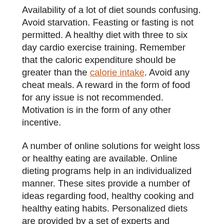Availability of a lot of diet sounds confusing. Avoid starvation. Feasting or fasting is not permitted. A healthy diet with three to six day cardio exercise training. Remember that the caloric expenditure should be greater than the calorie intake. Avoid any cheat meals. A reward in the form of food for any issue is not recommended. Motivation is in the form of any other incentive.
A number of online solutions for weight loss or healthy eating are available. Online dieting programs help in an individualized manner. These sites provide a number of ideas regarding food, healthy cooking and healthy eating habits. Personalized diets are provided by a set of experts and professionals. It also helps with the individual shopping list and ways to enhance the same.